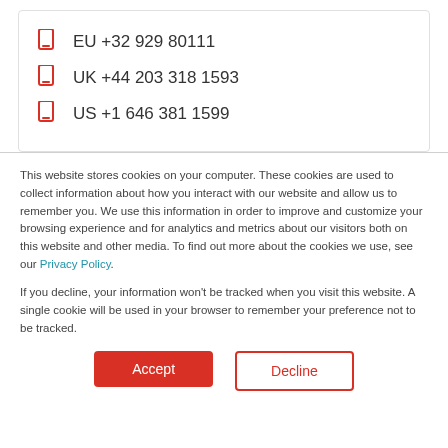EU +32 929 80111
UK +44 203 318 1593
US +1 646 381 1599
This website stores cookies on your computer. These cookies are used to collect information about how you interact with our website and allow us to remember you. We use this information in order to improve and customize your browsing experience and for analytics and metrics about our visitors both on this website and other media. To find out more about the cookies we use, see our Privacy Policy.
If you decline, your information won't be tracked when you visit this website. A single cookie will be used in your browser to remember your preference not to be tracked.
Accept
Decline